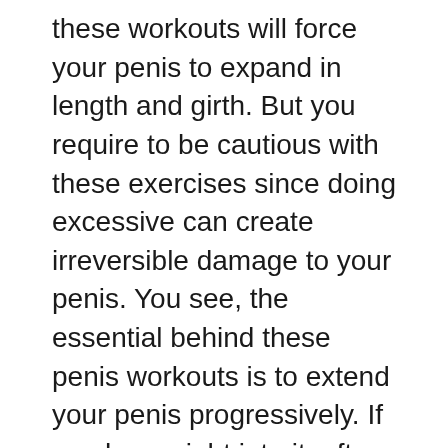these workouts will force your penis to expand in length and girth. But you require to be cautious with these exercises since doing excessive can create irreversible damage to your penis. You see, the essential behind these penis workouts is to extend your penis progressively. If you hurry right into it, after that it will be prematurely to discover any favorable outcomes and also your prick won't be able to grow anymore.
So just how precisely do penis exercises function? Well, it's not rocket scientific research but it's not rocket scientific research. The concept behind it is basic sufficient: the even more stress you exert on your penis, the faster it grows. And also the good idea about this is that you don't require